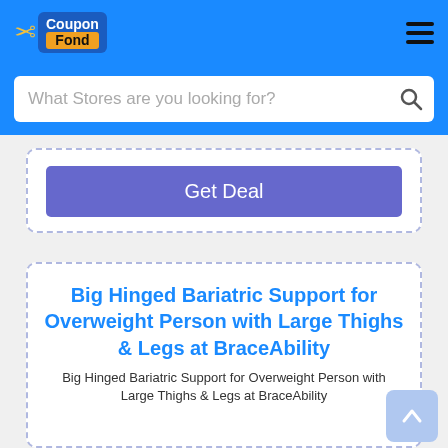CouponFond — What Stores are you looking for?
Get Deal
Big Hinged Bariatric Support for Overweight Person with Large Thighs & Legs at BraceAbility
Big Hinged Bariatric Support for Overweight Person with Large Thighs & Legs at BraceAbility